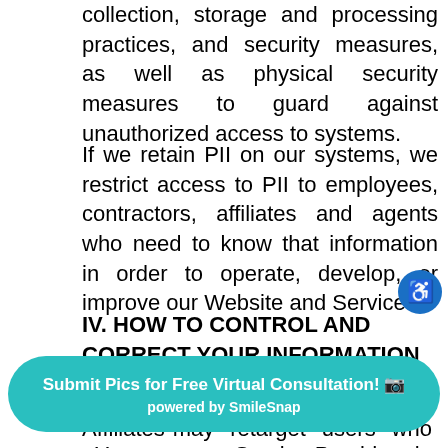collection, storage and processing practices, and security measures, as well as physical security measures to guard against unauthorized access to systems.
If we retain PII on our systems, we restrict access to PII to employees, contractors, affiliates and agents who need to know that information in order to operate, develop, or improve our Website and Services.
IV. HOW TO CONTROL AND CORRECT YOUR INFORMATION
We or our Service Providers and Affiliates may retarget users who view . You us or our Service Providers by following the opt-out procedures set forth below, but our
[Figure (other): Teal rounded banner button reading 'Submit Pics for Free Virtual Consultation! [camera icon]' with subtext 'powered by SmileSnap']